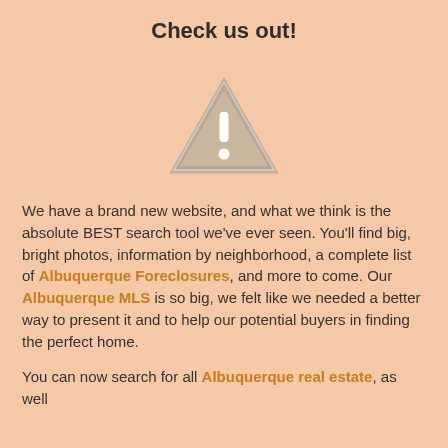Check us out!
[Figure (illustration): Warning triangle icon with exclamation mark, grey/tan colored with white interior marks, on a peach background]
We have a brand new website, and what we think is the absolute BEST search tool we've ever seen. You'll find big, bright photos, information by neighborhood, a complete list of Albuquerque Foreclosures, and more to come. Our Albuquerque MLS is so big, we felt like we needed a better way to present it and to help our potential buyers in finding the perfect home.
You can now search for all Albuquerque real estate, as well